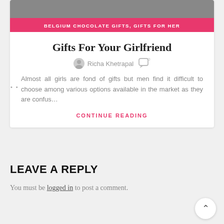[Figure (photo): Top portion of a person's photo, cropped header image]
BELGIUM CHOCOLATE GIFTS, GIFTS FOR HER
Gifts For Your Girlfriend
Richa Khetrapal  [comment icon with 0]
Almost all girls are fond of gifts but men find it difficult to choose among various options available in the market as they are confus…
CONTINUE READING
LEAVE A REPLY
You must be logged in to post a comment.